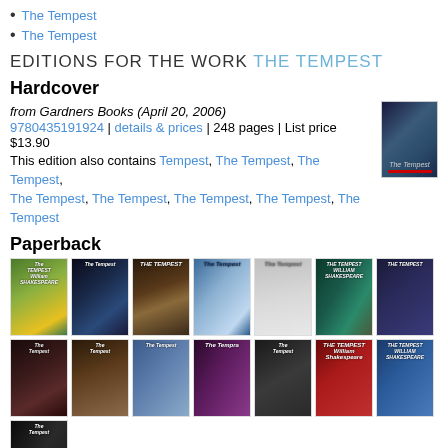The Tempest
The Tempest
EDITIONS FOR THE WORK THE TEMPEST
Hardcover
from Gardners Books (April 20, 2006)
9780435191924 | details & prices | 248 pages | List price $13.90
This edition also contains Tempest, The Tempest, The Tempest, The Tempest, The Tempest, The Tempest, The Tempest, The Tempest, The Tempest
[Figure (photo): Book cover of The Tempest hardcover edition from Gardners Books, dark blue/black artistic cover]
Paperback
[Figure (photo): Grid of paperback book cover thumbnails for various editions of The Tempest by William Shakespeare]